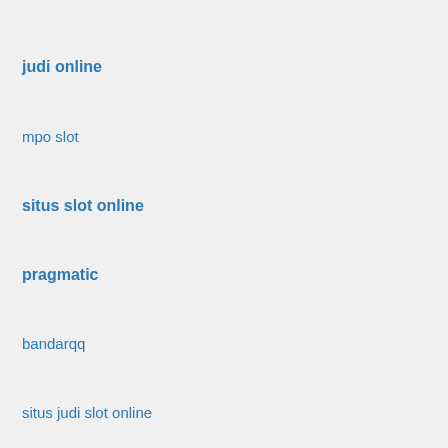judi online
mpo slot
situs slot online
pragmatic
bandarqq
situs judi slot online